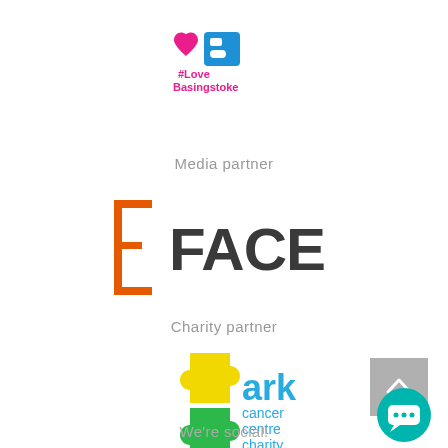[Figure (logo): #LoveBasingstoke logo with pink heart and blue B symbol]
Media partner
[Figure (logo): FACE media logo with orange F bracket shape and dark FACE text]
Charity partner
[Figure (logo): Ark Cancer Centre Charity logo with colourful puzzle pieces]
[Figure (other): Grey scroll-to-top button with upward chevron]
[Figure (other): Teal chat bubble button with three dots]
We're social!